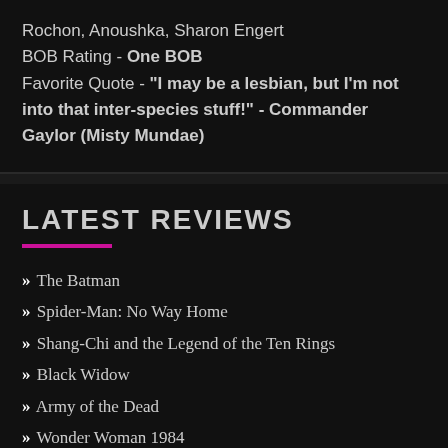Rochon, Anoushka, Sharon Engert
BOB Rating - One BOB
Favorite Quote - "I may be a lesbian, but I'm not into that inter-species stuff!" - Commander Gaylor (Misty Mundae)
LATEST REVIEWS
The Batman
Spider-Man: No Way Home
Shang-Chi and the Legend of the Ten Rings
Black Widow
Army of the Dead
Wonder Woman 1984
Night of the Demons (1988)